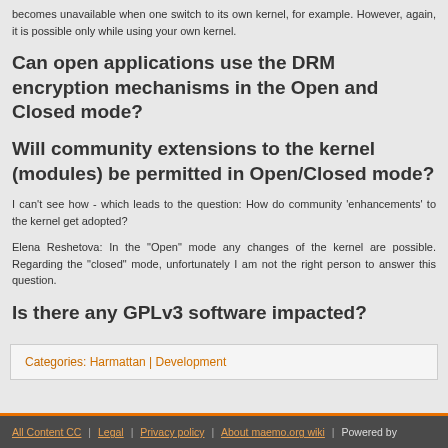becomes unavailable when one switch to its own kernel, for example. However, again, it is possible only while using your own kernel.
Can open applications use the DRM encryption mechanisms in the Open and Closed mode?
Will community extensions to the kernel (modules) be permitted in Open/Closed mode?
I can't see how - which leads to the question: How do community 'enhancements' to the kernel get adopted?
Elena Reshetova: In the "Open" mode any changes of the kernel are possible. Regarding the "closed" mode, unfortunately I am not the right person to answer this question.
Is there any GPLv3 software impacted?
Categories: Harmattan | Development
All Content CC | Legal | Privacy policy | About maemo.org wiki | Powered by